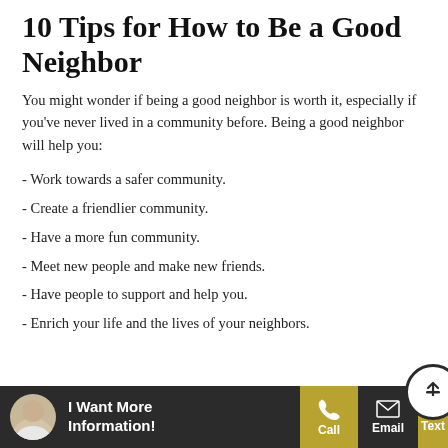10 Tips for How to Be a Good Neighbor
You might wonder if being a good neighbor is worth it, especially if you've never lived in a community before. Being a good neighbor will help you:
- Work towards a safer community.
- Create a friendlier community.
- Have a more fun community.
- Meet new people and make new friends.
- Have people to support and help you.
- Enrich your life and the lives of your neighbors.
I Want More Information! | Call | Email | Text